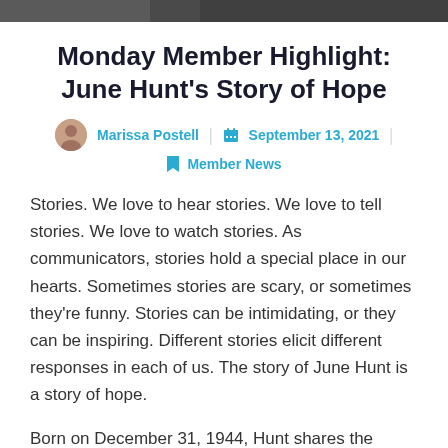[Figure (photo): Dark banner image at the top of the page, partially cropped]
Monday Member Highlight: June Hunt's Story of Hope
Marissa Postell | September 13, 2021 | Member News
Stories. We love to hear stories. We love to tell stories. We love to watch stories. As communicators, stories hold a special place in our hearts. Sometimes stories are scary, or sometimes they're funny. Stories can be intimidating, or they can be inspiring. Different stories elicit different responses in each of us. The story of June Hunt is a story of hope.
Born on December 31, 1944, Hunt shares the